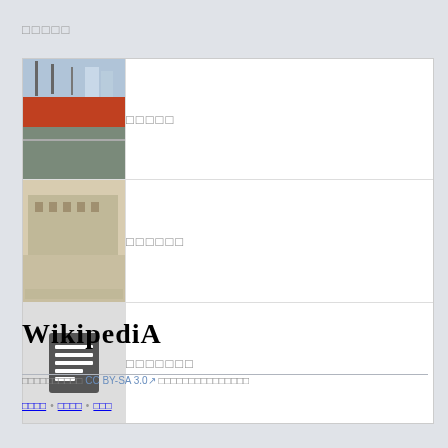□□□□□
| [photo: construction site] | □□□□□ |
| [photo: vintage building] | □□□□□□ |
| [document icon] | □□□□□□□ |
Wikipedia
□□□□□□□□□□ CC BY-SA 3.0↗ □□□□□□□□□□□□□□□
□□□□ • □□□□ • □□□